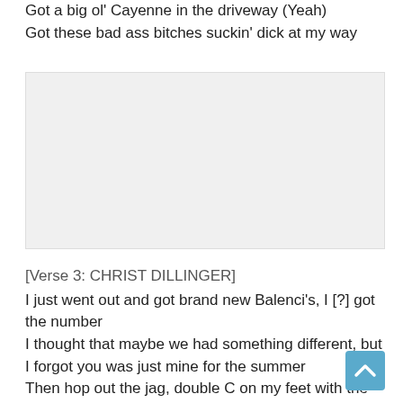Got a big ol' Cayenne in the driveway (Yeah)
Got these bad ass bitches suckin' dick at my way
[Figure (other): Advertisement or embedded media placeholder (gray box)]
[Verse 3: CHRIST DILLINGER]
I just went out and got brand new Balenci's, I [?] got the number
I thought that maybe we had something different, but I forgot you was just mine for the summer
Then hop out the jag, double C on my feet with the Louie, we all know, nigga, I'm a stunter
Boy dropped out of school, they thought we was